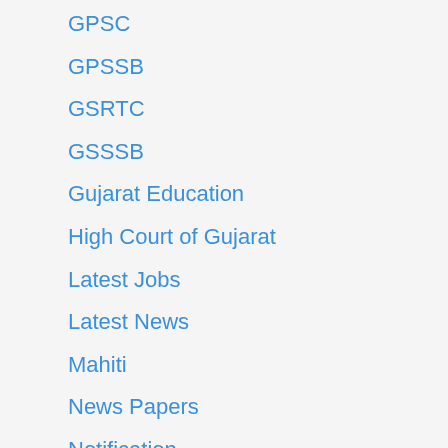GPSC
GPSSB
GSRTC
GSSSB
Gujarat Education
High Court of Gujarat
Latest Jobs
Latest News
Mahiti
News Papers
Notification
OMR Sheet
Question Paper